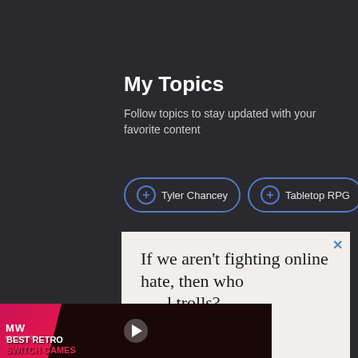My Topics
Follow topics to stay updated with your favorite content
+ Tyler Chancey
+ Tabletop RPG
[Figure (screenshot): Advertisement overlay with text 'If we aren't fighting online hate, then who controls the trolls?' with OpenWeb logo]
[Figure (screenshot): Video thumbnail overlay showing 'BEST RETRO SWITCH GAMES' with MW logo badge and play button]